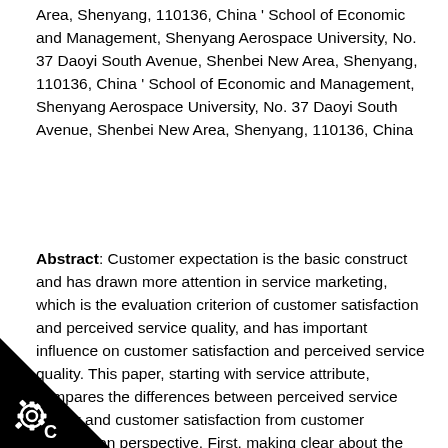Area, Shenyang, 110136, China ' School of Economic and Management, Shenyang Aerospace University, No. 37 Daoyi South Avenue, Shenbei New Area, Shenyang, 110136, China ' School of Economic and Management, Shenyang Aerospace University, No. 37 Daoyi South Avenue, Shenbei New Area, Shenyang, 110136, China
Abstract: Customer expectation is the basic construct and has drawn more attention in service marketing, which is the evaluation criterion of customer satisfaction and perceived service quality, and has important influence on customer satisfaction and perceived service quality. This paper, starting with service attribute, compares the differences between perceived service quality and customer satisfaction from customer expectation perspective. First, making clear about the definition of customer expectation and referring to Kano model, we have three kinds of expectation. Choosing catering industry as the empirical background, by MTMM and path analysis, we find that deserved attribute expectation and proper attribute expectation have much influence on perceived service quality, and desired attribute expectation is the biggest influencing on customer satisfaction. Lastly, the management directions ation, service quality and customer satisfaction are given.